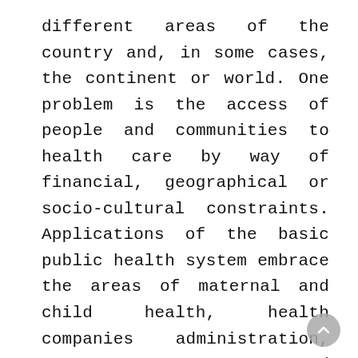different areas of the country and, in some cases, the continent or world. One problem is the access of people and communities to health care by way of financial, geographical or socio-cultural constraints. Applications of the basic public health system embrace the areas of maternal and child health, health companies administration, emergency response, and prevention and control of infectious and persistent ailments. Health, according to the World Health Organization, is “a state of complete bodily, mental and social well-being and not merely the absence of disease and infirmity”. A number of definitions have been